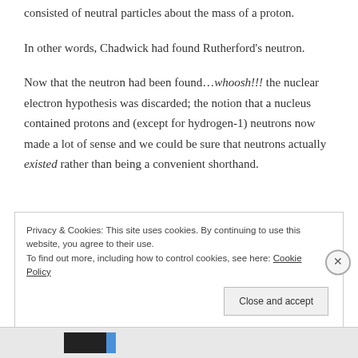consisted of neutral particles about the mass of a proton.
In other words, Chadwick had found Rutherford's neutron.
Now that the neutron had been found…whoosh!!! the nuclear electron hypothesis was discarded; the notion that a nucleus contained protons and (except for hydrogen-1) neutrons now made a lot of sense and we could be sure that neutrons actually existed rather than being a convenient shorthand.
Privacy & Cookies: This site uses cookies. By continuing to use this website, you agree to their use. To find out more, including how to control cookies, see here: Cookie Policy